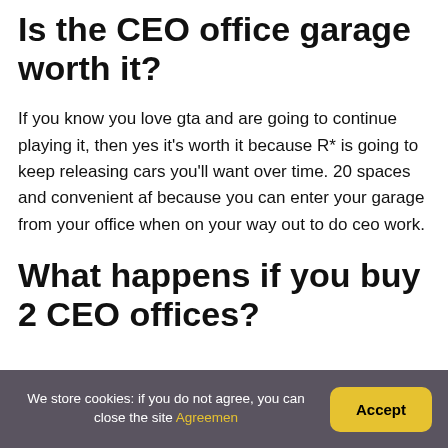Is the CEO office garage worth it?
If you know you love gta and are going to continue playing it, then yes it's worth it because R* is going to keep releasing cars you'll want over time. 20 spaces and convenient af because you can enter your garage from your office when on your way out to do ceo work.
What happens if you buy 2 CEO offices?
We store cookies: if you do not agree, you can close the site Agreemen  Accept